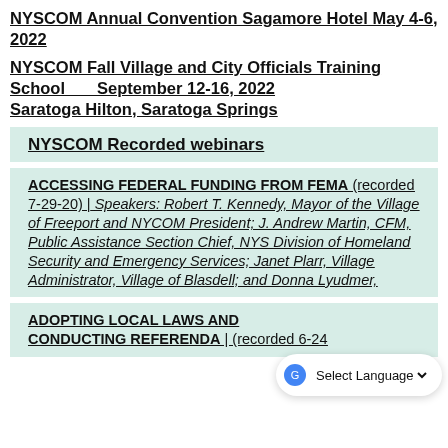NYSCOM Annual Convention Sagamore Hotel May 4-6, 2022
NYSCOM Fall Village and City Officials Training School      September 12-16, 2022  Saratoga Hilton, Saratoga Springs
NYSCOM Recorded webinars
ACCESSING FEDERAL FUNDING FROM FEMA (recorded 7-29-20) | Speakers: Robert T. Kennedy, Mayor of the Village of Freeport and NYCOM President; J. Andrew Martin, CFM, Public Assistance Section Chief, NYS Division of Homeland Security and Emergency Services; Janet Plarr, Village Administrator, Village of Blasdell; and Donna Lyudmer,
ADOPTING LOCAL LAWS AND CONDUCTING REFERENDA | (recorded 6-24